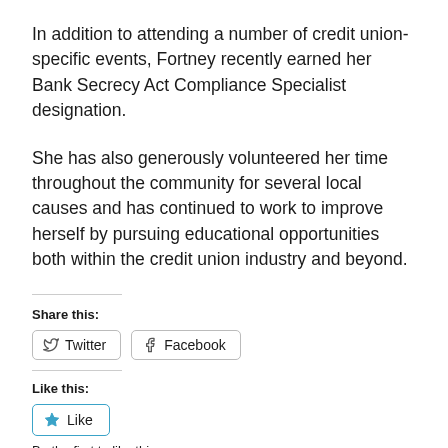In addition to attending a number of credit union-specific events, Fortney recently earned her Bank Secrecy Act Compliance Specialist designation.
She has also generously volunteered her time throughout the community for several local causes and has continued to work to improve herself by pursuing educational opportunities both within the credit union industry and beyond.
Share this:
Twitter  Facebook
Like this:
Like  Be the first to like this.